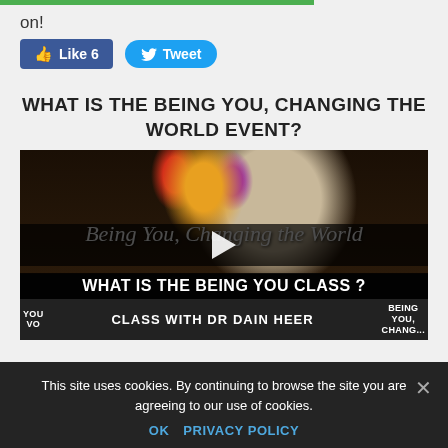on!
[Figure (screenshot): Facebook Like button showing count of 6 and a Tweet button]
WHAT IS THE BEING YOU, CHANGING THE WORLD EVENT?
[Figure (photo): Video thumbnail showing a man at a speaking event with flowers, overlay text 'Being You Changing the World', play button, text 'WHAT IS THE BEING YOU CLASS?' and 'CLASS WITH DR DAIN HEER']
This site uses cookies. By continuing to browse the site you are agreeing to our use of cookies.
OK   PRIVACY POLICY